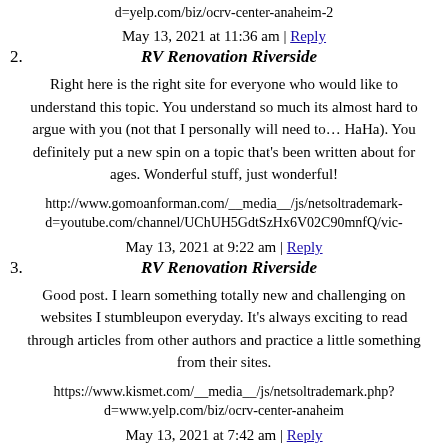d=yelp.com/biz/ocrv-center-anaheim-2
May 13, 2021 at 11:36 am | Reply
2. RV Renovation Riverside
Right here is the right site for everyone who would like to understand this topic. You understand so much its almost hard to argue with you (not that I personally will need to… HaHa). You definitely put a new spin on a topic that's been written about for ages. Wonderful stuff, just wonderful!
http://www.gomoanforman.com/__media__/js/netsoltrademark... d=youtube.com/channel/UChUH5GdtSzHx6V02C90mnfQ/vic...
May 13, 2021 at 9:22 am | Reply
3. RV Renovation Riverside
Good post. I learn something totally new and challenging on websites I stumbleupon everyday. It's always exciting to read through articles from other authors and practice a little something from their sites.
https://www.kismet.com/__media__/js/netsoltrademark.php? d=www.yelp.com/biz/ocrv-center-anaheim
May 13, 2021 at 7:42 am | Reply